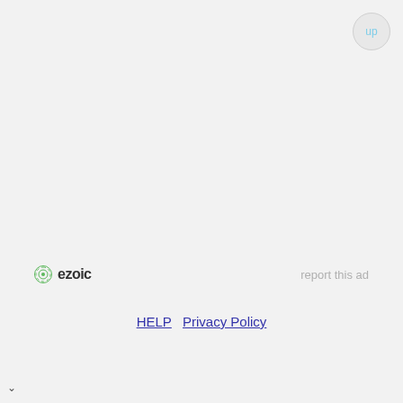up
[Figure (logo): Ezoic logo with green circular icon and bold text 'ezoic']
report this ad
HELP  Privacy Policy